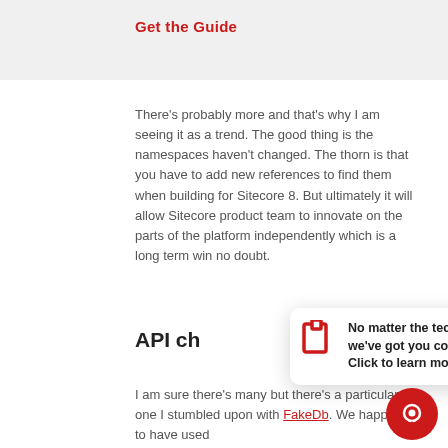Get the Guide
There’s probably more and that’s why I am seeing it as a trend. The good thing is the namespaces haven’t changed. The thorn is that you have to add new references to find them when building for Sitecore 8. But ultimately it will allow Sitecore product team to innovate on the parts of the platform independently which is a long term win no doubt.
API ch…
[Figure (screenshot): Popup notification with logo showing: 'No matter the technology, we’ve got you covered! Click to learn more. 📊' with a close button.]
I am sure there’s many but there’s a particular one I stumbled upon with FakeDb. We happened to have used ItemManager.Provider.CopyItem() in our implementation of the data engine’s copy command